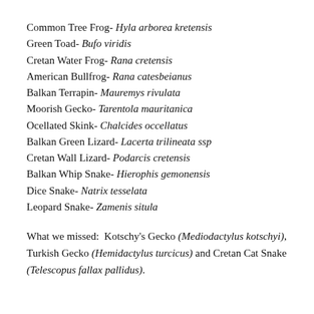Common Tree Frog- Hyla arborea kretensis
Green Toad- Bufo viridis
Cretan Water Frog- Rana cretensis
American Bullfrog- Rana catesbeianus
Balkan Terrapin- Mauremys rivulata
Moorish Gecko- Tarentola mauritanica
Ocellated Skink- Chalcides occellatus
Balkan Green Lizard- Lacerta trilineata ssp
Cretan Wall Lizard- Podarcis cretensis
Balkan Whip Snake- Hierophis gemonensis
Dice Snake- Natrix tesselata
Leopard Snake- Zamenis situla
What we missed:  Kotschy's Gecko (Mediodactylus kotschyi), Turkish Gecko (Hemidactylus turcicus) and Cretan Cat Snake (Telescopus fallax pallidus).